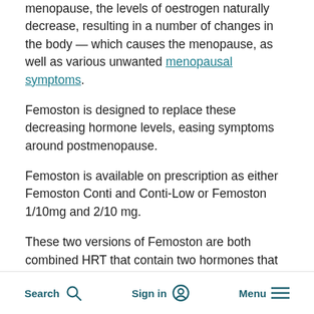menopause, the levels of oestrogen naturally decrease, resulting in a number of changes in the body — which causes the menopause, as well as various unwanted menopausal symptoms.
Femoston is designed to replace these decreasing hormone levels, easing symptoms around postmenopause.
Femoston is available on prescription as either Femoston Conti and Conti-Low or Femoston 1/10mg and 2/10 mg.
These two versions of Femoston are both combined HRT that contain two hormones that replicate the female sex hormones oestrogen and progesterone to reduce symptoms of the menopause. The two
Search   Sign in   Menu